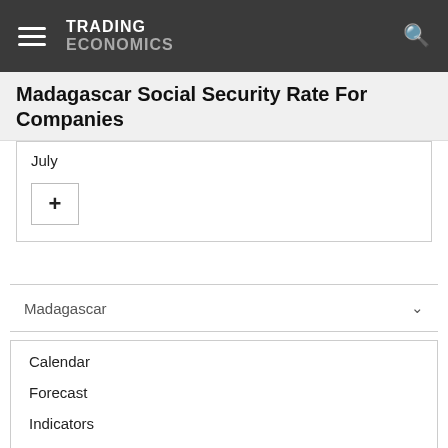TRADING ECONOMICS
Madagascar Social Security Rate For Companies
July
+
Madagascar
Calendar
Forecast
Indicators
News
Markets